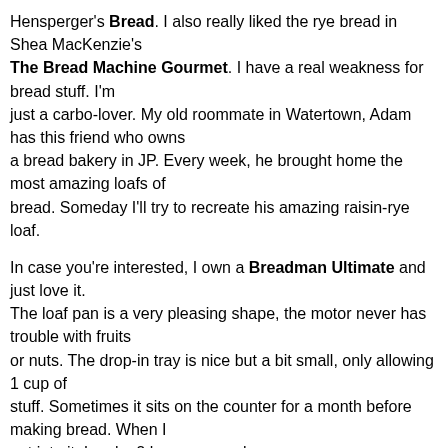Hensperger's Bread. I also really liked the rye bread in Shea MacKenzie's The Bread Machine Gourmet. I have a real weakness for bread stuff. I'm just a carbo-lover. My old roommate in Watertown, Adam has this friend who owns a bread bakery in JP. Every week, he brought home the most amazing loafs of bread. Someday I'll try to recreate his amazing raisin-rye loaf.
In case you're interested, I own a Breadman Ultimate and just love it. The loaf pan is a very pleasing shape, the motor never has trouble with fruits or nuts. The drop-in tray is nice but a bit small, only allowing 1 cup of stuff. Sometimes it sits on the counter for a month before making bread. When I get into it, I make 2 loaves a week.
Here is the manual for the Breadman Ultimate. Most useful fo...